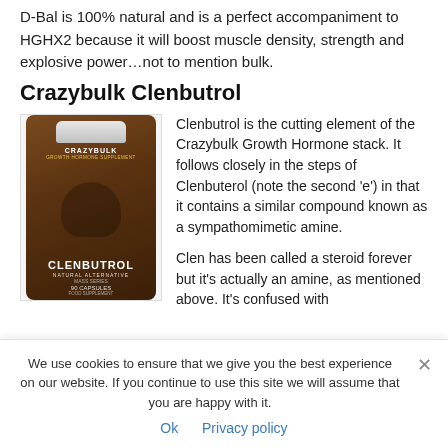D-Bal is 100% natural and is a perfect accompaniment to HGHX2 because it will boost muscle density, strength and explosive power…not to mention bulk.
Crazybulk Clenbutrol
[Figure (photo): Product photo of Crazybulk Clenbutrol supplement bottle, brown label, white cap, 90 capsules]
Clenbutrol is the cutting element of the Crazybulk Growth Hormone stack. It follows closely in the steps of Clenbuterol (note the second 'e') in that it contains a similar compound known as a sympathomimetic amine.

Clen has been called a steroid forever but it's actually an amine, as mentioned above. It's confused with
We use cookies to ensure that we give you the best experience on our website. If you continue to use this site we will assume that you are happy with it.
Ok   Privacy policy